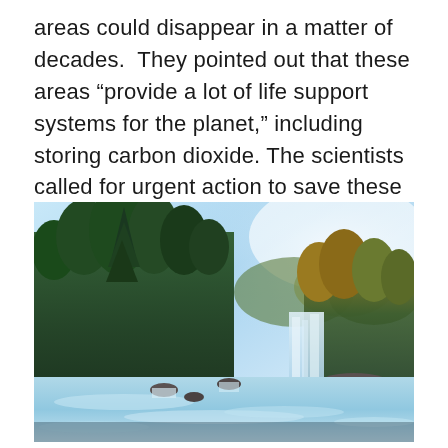areas could disappear in a matter of decades.  They pointed out that these areas “provide a lot of life support systems for the planet,” including storing carbon dioxide. The scientists called for urgent action to save these remaining wild areas.
[Figure (photo): A scenic wilderness photograph showing a serene river or stream with milky smooth flowing water over flat rocks in the foreground, a cascading waterfall in the middle-right background, dense green forest with tall evergreen and deciduous trees in autumn colors on the left and right, and a bright blue sky visible above the tree canopy.]